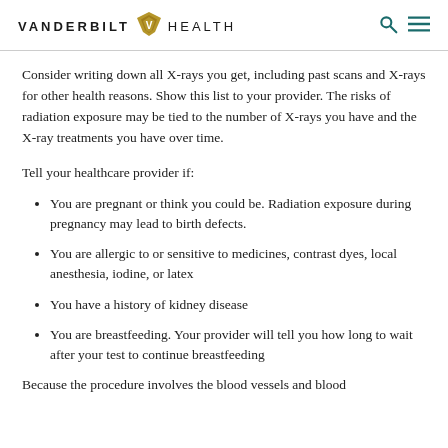VANDERBILT HEALTH
Consider writing down all X-rays you get, including past scans and X-rays for other health reasons. Show this list to your provider. The risks of radiation exposure may be tied to the number of X-rays you have and the X-ray treatments you have over time.
Tell your healthcare provider if:
You are pregnant or think you could be. Radiation exposure during pregnancy may lead to birth defects.
You are allergic to or sensitive to medicines, contrast dyes, local anesthesia, iodine, or latex
You have a history of kidney disease
You are breastfeeding. Your provider will tell you how long to wait after your test to continue breastfeeding
Because the procedure involves the blood vessels and blood